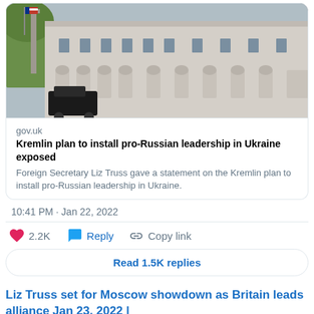[Figure (photo): Photograph of a large classical government building (likely Foreign & Commonwealth Office, London) with ornate stone facade, arched windows, and a black cab visible at street level. Trees visible on the left side.]
gov.uk
Kremlin plan to install pro-Russian leadership in Ukraine exposed
Foreign Secretary Liz Truss gave a statement on the Kremlin plan to install pro-Russian leadership in Ukraine.
10:41 PM · Jan 22, 2022
2.2K   Reply   Copy link
Read 1.5K replies
Liz Truss set for Moscow showdown as Britain leads alliance Jan 23, 2022 |